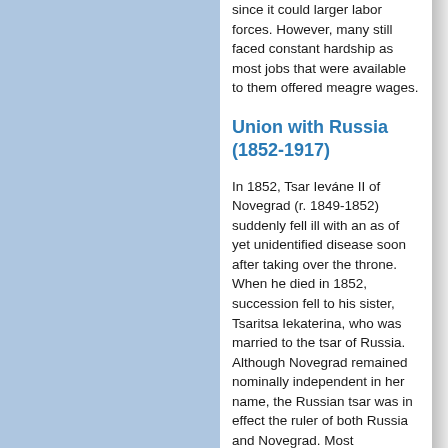since it could larger labor forces. However, many still faced constant hardship as most jobs that were available to them offered meagre wages.
Union with Russia (1852-1917)
In 1852, Tsar Ieváne II of Novegrad (r. 1849-1852) suddenly fell ill with an as of yet unidentified disease soon after taking over the throne. When he died in 1852, succession fell to his sister, Tsaritsa Iekaterina, who was married to the tsar of Russia. Although Novegrad remained nominally independent in her name, the Russian tsar was in effect the ruler of both Russia and Novegrad. Most Novegradians were somewhat concerned by this union and their